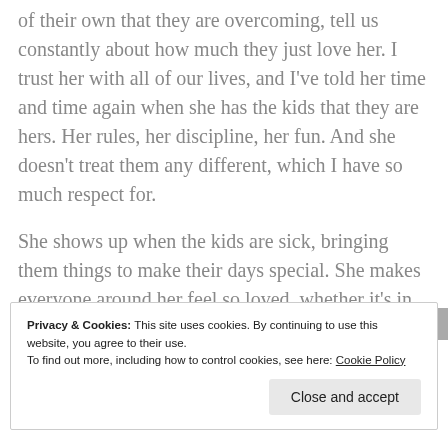of their own that they are overcoming, tell us constantly about how much they just love her. I trust her with all of our lives, and I've told her time and time again when she has the kids that they are hers. Her rules, her discipline, her fun. And she doesn't treat them any different, which I have so much respect for.
She shows up when the kids are sick, bringing them things to make their days special. She makes everyone around her feel so loved, whether it's in the way she talks to you, or makes you feel included, or cooks you dinner, or bakes you desserts (she could definitely
Privacy & Cookies: This site uses cookies. By continuing to use this website, you agree to their use.
To find out more, including how to control cookies, see here: Cookie Policy